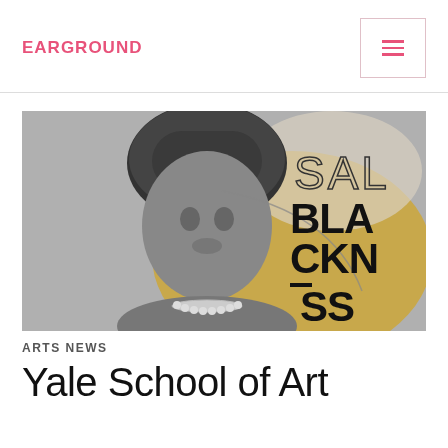EARGROUND
[Figure (photo): Black and white portrait photo of a young Black woman wearing a patterned head wrap and beaded necklace, overlaid with a gold/tan abstract shape and large text reading SAL BLACKNESS]
ARTS NEWS
Yale School of Art